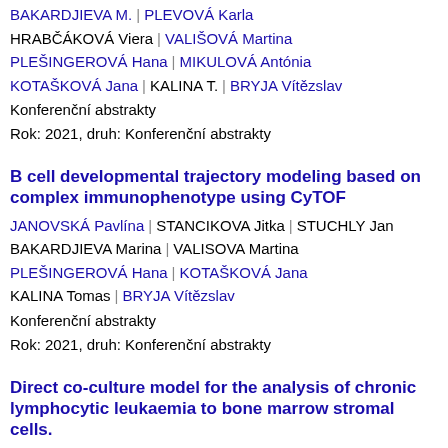BAKARDJIEVA M. | PLEVOVÁ Karla
HRABČÁKOVÁ Viera | VALIŠOVÁ Martina
PLEŠINGEROVÁ Hana | MIKULOVÁ Antónia
KOTAŠKOVÁ Jana | KALINA T. | BRYJA Vítězslav
Konferenční abstrakty
Rok: 2021, druh: Konferenční abstrakty
B cell developmental trajectory modeling based on complex immunophenotype using CyTOF
JANOVSKÁ Pavlína | STANCIKOVA Jitka | STUCHLY Jan
BAKARDJIEVA Marina | VALISOVA Martina
PLEŠINGEROVÁ Hana | KOTAŠKOVÁ Jana
KALINA Tomas | BRYJA Vítězslav
Konferenční abstrakty
Rok: 2021, druh: Konferenční abstrakty
Direct co-culture model for the analysis of chronic lymphocytic leukaemia to bone marrow stromal cells.
PLEŠINGEROVÁ Hana | JANOVSKÁ Pavlína
RADOVÁ Lenka | MAŘÁKOVÁ M. | KOTAŠKOVÁ Jana